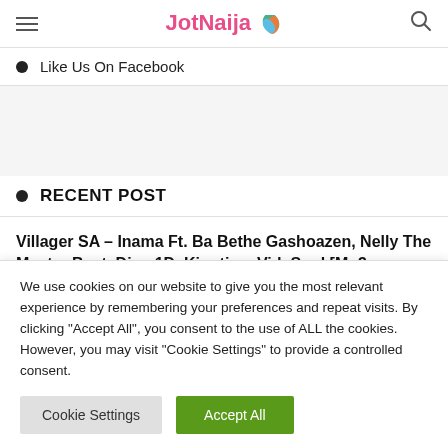JotNaija
Like Us On Facebook
RECENT POST
Villager SA – Inama Ft. Ba Bethe Gashoazen, Nelly The Master Beat, Dios 1D, Kingtips, VidaSoul [Mp3 Download]
We use cookies on our website to give you the most relevant experience by remembering your preferences and repeat visits. By clicking "Accept All", you consent to the use of ALL the cookies. However, you may visit "Cookie Settings" to provide a controlled consent.